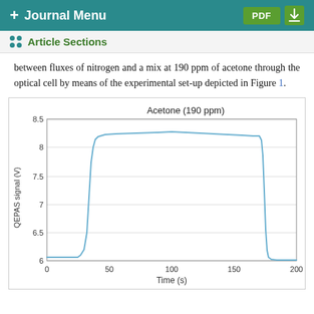+ Journal Menu | PDF
Article Sections
between fluxes of nitrogen and a mix at 190 ppm of acetone through the optical cell by means of the experimental set-up depicted in Figure 1.
[Figure (continuous-plot): Line chart showing QEPAS signal (V) vs Time (s) for Acetone at 190 ppm. Signal starts near 6.05 V, remains flat until ~25 s, then rises steeply to ~8.2 V by ~40 s, stays relatively flat with slight peak ~8.25 V around 100 s, remains near 8.15 V until ~170 s, then drops sharply to ~6.1 V by ~180 s and remains flat.]